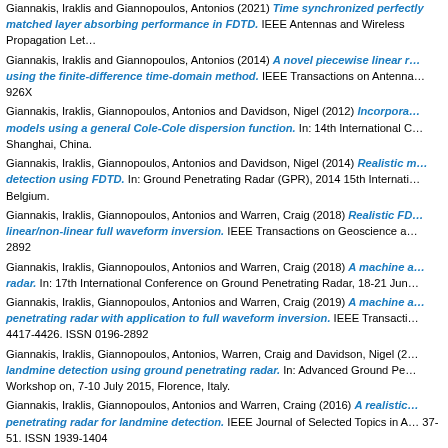Giannakis, Iraklis and Giannopoulos, Antonios (2021) Time synchronized perfectly matched layer absorbing performance in FDTD. IEEE Antennas and Wireless Propagation Letters.
Giannakis, Iraklis and Giannopoulos, Antonios (2014) A novel piecewise linear recursive convolution using the finite-difference time-domain method. IEEE Transactions on Antennas... 926X
Giannakis, Iraklis, Giannopoulos, Antonios and Davidson, Nigel (2012) Incorporating dispersive models using a general Cole-Cole dispersion function. In: 14th International Conference, Shanghai, China.
Giannakis, Iraklis, Giannopoulos, Antonios and Davidson, Nigel (2014) Realistic modelling for detection using FDTD. In: Ground Penetrating Radar (GPR), 2014 15th International, Belgium.
Giannakis, Iraklis, Giannopoulos, Antonios and Warren, Craig (2018) Realistic FDTD modelling for linear/non-linear full waveform inversion. IEEE Transactions on Geoscience and Remote Sensing. 2892
Giannakis, Iraklis, Giannopoulos, Antonios and Warren, Craig (2018) A machine learning approach for radar. In: 17th International Conference on Ground Penetrating Radar, 18-21 Jun.
Giannakis, Iraklis, Giannopoulos, Antonios and Warren, Craig (2019) A machine learning scheme for ground penetrating radar with application to full waveform inversion. IEEE Transactions. 4417-4426. ISSN 0196-2892
Giannakis, Iraklis, Giannopoulos, Antonios, Warren, Craig and Davidson, Nigel (2015) Automatic landmine detection using ground penetrating radar. In: Advanced Ground Penetrating Radar Workshop on, 7-10 July 2015, Florence, Italy.
Giannakis, Iraklis, Giannopoulos, Antonios and Warren, Craing (2016) A realistic FDTD model for ground penetrating radar for landmine detection. IEEE Journal of Selected Topics in Applied Earth Observations. 37-51. ISSN 1939-1404
Giannakis, Iraklis, Giannopoulos, Antonios and Yarovoy, Alexander (2016) Model-based landmine detection using ground-penetrating radar. IEEE Transactions on Geoscience. ISSN 0196-2892
Giannakis, Iraklis, Pajewski, Lara and Giannopoulos, Antonios (2014) Numerical...